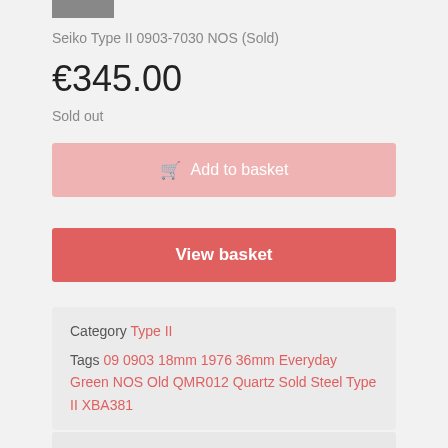[Figure (photo): Small thumbnail photo of a watch, partially visible at top]
Seiko Type II 0903-7030 NOS (Sold)
€345.00
Sold out
Add to basket
View basket
Category Type II
Tags 09 0903 18mm 1976 36mm Everyday Green NOS Old QMR012 Quartz Sold Steel Type II XBA381